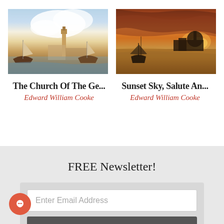[Figure (illustration): Oil painting of Venetian church scene with boats and tower, daytime]
[Figure (illustration): Oil painting of sunset sky over Venice with sailboats and domed cathedral silhouette]
The Church Of The Ge...
Edward William Cooke
Sunset Sky, Salute An...
Edward William Cooke
FREE Newsletter!
Enter Email Address
SUBSCRIBE